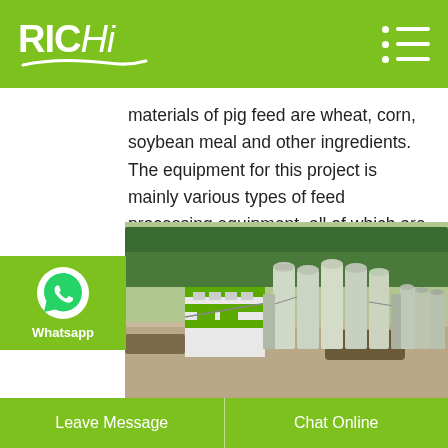RICHI (logo with hamburger menu)
materials of pig feed are wheat, corn, soybean meal and other ingredients. The equipment for this project is mainly various types of feed processing equipment, all of which are designed, manufactured and supplied by professional manufacturers.
[Figure (photo): Aerial/elevated view of a large industrial feed processing plant with multiple tall silver grain silos and a green-branded main building, surrounded by cleared land and trees in the background.]
Leave Message   Chat Online